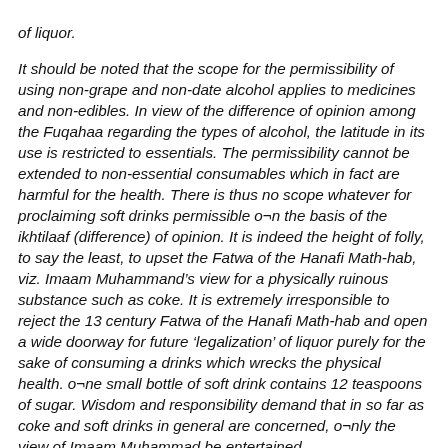of liquor. It should be noted that the scope for the permissibility of using non-grape and non-date alcohol applies to medicines and non-edibles. In view of the difference of opinion among the Fuqahaa regarding the types of alcohol, the latitude in its use is restricted to essentials. The permissibility cannot be extended to non-essential consumables which in fact are harmful for the health. There is thus no scope whatever for proclaiming soft drinks permissible o¬n the basis of the ikhtilaaf (difference) of opinion. It is indeed the height of folly, to say the least, to upset the Fatwa of the Hanafi Math-hab, viz. Imaam Muhammand's view for a physically ruinous substance such as coke. It is extremely irresponsible to reject the 13 century Fatwa of the Hanafi Math-hab and open a wide doorway for future 'legalization' of liquor purely for the sake of consuming a drinks which wrecks the physical health. o¬ne small bottle of soft drink contains 12 teaspoons of sugar. Wisdom and responsibility demand that in so far as coke and soft drinks in general are concerned, o¬nly the view of Imaam Muhammad be entertained. [The Majlisul Haqq]